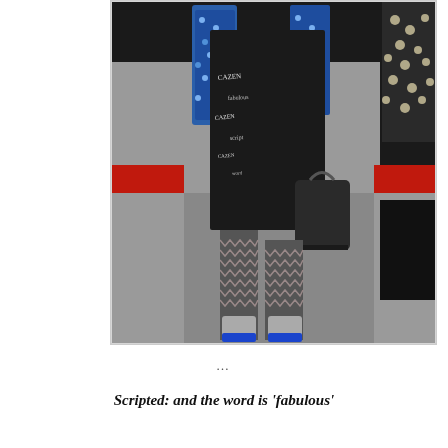[Figure (photo): Fashion runway photo showing a model walking in a patterned outfit with a dark cape/vest featuring script print, blue floral top, patterned stockings, and metallic blue-soled shoes, carrying a black handbag. Red runway stripe visible in background.]
…
Scripted:  and the word is 'fabulous'